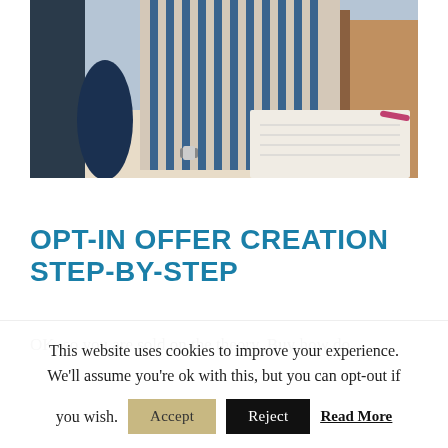[Figure (photo): Woman in blue and white striped shirt leaning over a desk with papers, in an office/restaurant setting]
OPT-IN OFFER CREATION STEP-BY-STEP
OK, so you are sold on the theory. Buy how do
This website uses cookies to improve your experience. We'll assume you're ok with this, but you can opt-out if you wish. Accept Reject Read More